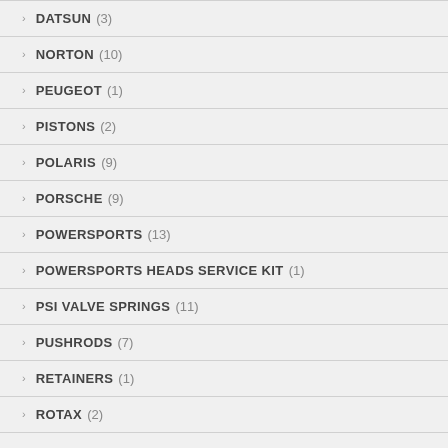DATSUN (3)
NORTON (10)
PEUGEOT (1)
PISTONS (2)
POLARIS (9)
PORSCHE (9)
POWERSPORTS (13)
POWERSPORTS HEADS SERVICE KIT (1)
PSI VALVE SPRINGS (11)
PUSHRODS (7)
RETAINERS (1)
ROTAX (2)